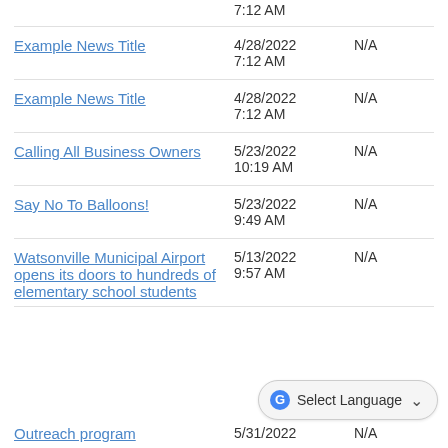7:12 AM | 4/28/2022 | N/A
Example News Title | 4/28/2022 7:12 AM | N/A
Example News Title | 4/28/2022 7:12 AM | N/A
Calling All Business Owners | 5/23/2022 10:19 AM | N/A
Say No To Balloons! | 5/23/2022 9:49 AM | N/A
Watsonville Municipal Airport opens its doors to hundreds of elementary school students | 5/13/2022 9:57 AM | N/A
Outreach program | 5/31/2022 | N/A